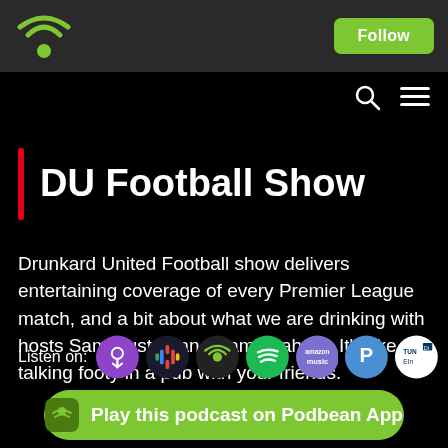Podbean — Follow
DU Football Show
Drunkard United Football show delivers entertaining coverage of every Premier League match, and a bit about what we are drinking with hosts Sam Huston and Sam Graham. It's like talking footy in a pub with your friends.
Listen on: [Apple Podcasts] [Google Podcasts] [Podbean] [Spotify] [Amazon Music] [Pocket Casts] [TuneIn]
Play this podcast on Podbean App